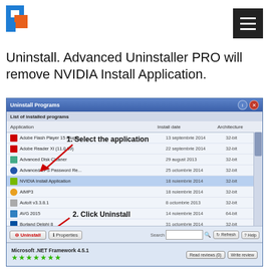[Figure (logo): Software logo with blue and orange square shapes forming a bracket-like icon]
Uninstall. Advanced Uninstaller PRO will remove NVIDIA Install Application.
[Figure (screenshot): Screenshot of Advanced Uninstaller PRO 'Uninstall Programs' window showing a list of installed programs. Annotations indicate: 1. Select the application (pointing to NVIDIA Install Application row), 2. Click Uninstall (pointing to Uninstall button at bottom). The program list includes Adobe Flash Player, Adobe Reader, Advanced Disk Cleaner, Advanced EFS Password Recovery, NVIDIA Install Application, AIMP3, AutoIt, AVG 2015, Borland Delphi 8, BS.Player FREE, Camtasia Studio 8, DriverToolkit, Entity Framework Designer, Google Chrome, Google Earth Plug-in. Bottom shows Microsoft .NET Framework 4.5.1 with star rating.]